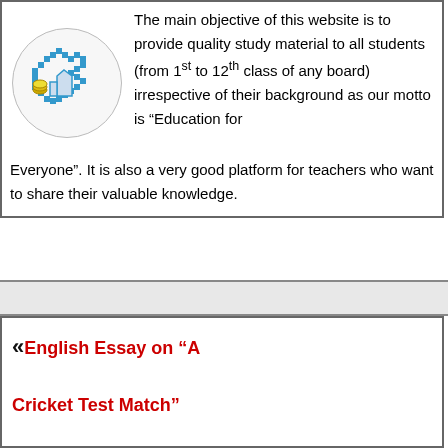[Figure (logo): Circular logo with a pixelated hand cursor icon and stacked coins, representing an educational website]
The main objective of this website is to provide quality study material to all students (from 1st to 12th class of any board) irrespective of their background as our motto is “Education for Everyone”. It is also a very good platform for teachers who want to share their valuable knowledge.
«English Essay on “A Cricket Test Match” complete Paragraph and